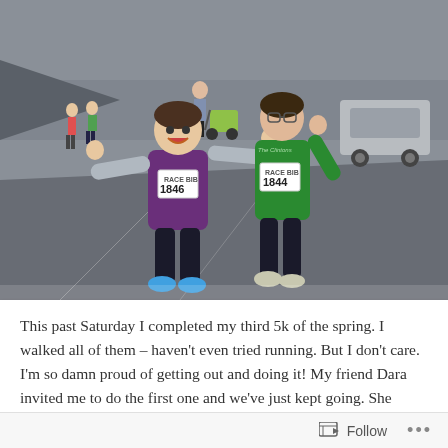[Figure (photo): Two women wearing race bibs (numbers 1846 and 1844) giving thumbs up on a paved road during a 5k race. One wears a purple vest and the other a green hoodie. In the background are other participants, a stroller, trees, and parked cars.]
This past Saturday I completed my third 5k of the spring. I walked all of them – haven't even tried running. But I don't care. I'm so damn proud of getting out and doing it! My friend Dara invited me to do the first one and we've just kept going. She
Follow ...